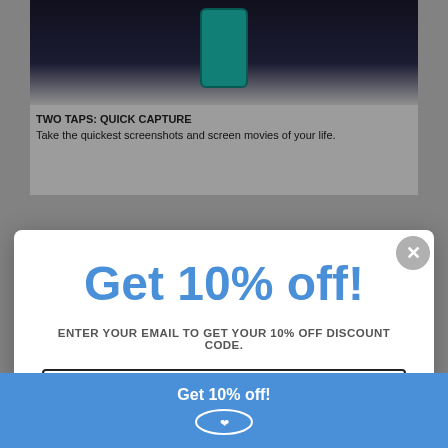[Figure (screenshot): App screenshot showing phone with teal screen held in hand against dark background]
TWO TAPS: QUICK CAPTURE
Take the quickest screenshots and screen movies of your life.
Get 10% off!
ENTER YOUR EMAIL TO GET YOUR 10% OFF DISCOUNT CODE.
Email
Reveal Code
*By completing this form you are signing up to receive our emails and can unsubscribe at any time.
Get 10% off!